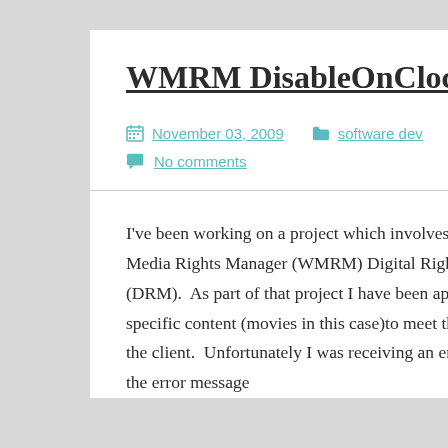WMRM DisableOnClockRollback
November 03, 2009   software dev   No comments
I've been working on a project which involves using Windows Media Rights Manager (WMRM) Digital Rights Management (DRM).  As part of that project I have been applying rights to specific content (movies in this case)to meet the rules specified by the client.  Unfortunately I was receiving an error and searching on the error message